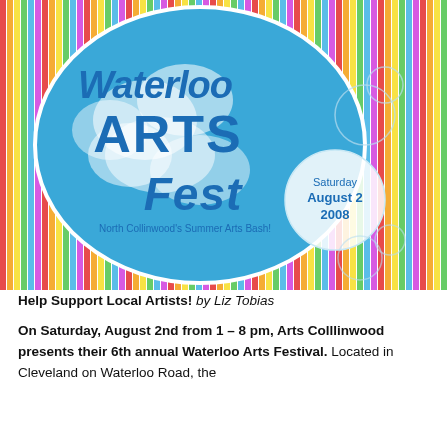[Figure (logo): Waterloo Arts Fest circular logo with colorful vertical stripes background. The logo shows a blue circle with cloud-like white shapes and bold blue text reading 'Waterloo ARTS Fest'. A smaller circle reads 'Saturday August 2 2008'. Below the main text: 'North Collinwood's Summer Arts Bash!']
Help Support Local Artists! by Liz Tobias
On Saturday, August 2nd from 1 – 8 pm, Arts Colllinwood presents their 6th annual Waterloo Arts Festival. Located in Cleveland on Waterloo Road, the